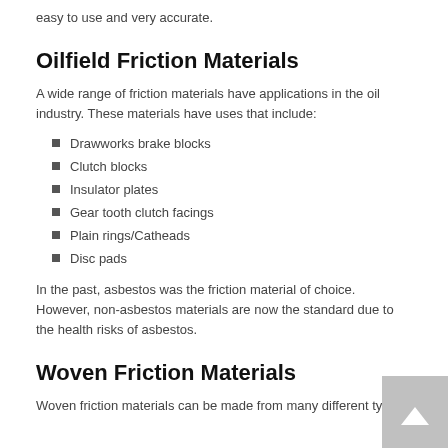easy to use and very accurate.
Oilfield Friction Materials
A wide range of friction materials have applications in the oil industry. These materials have uses that include:
Drawworks brake blocks
Clutch blocks
Insulator plates
Gear tooth clutch facings
Plain rings/Catheads
Disc pads
In the past, asbestos was the friction material of choice. However, non-asbestos materials are now the standard due to the health risks of asbestos.
Woven Friction Materials
Woven friction materials can be made from many different types